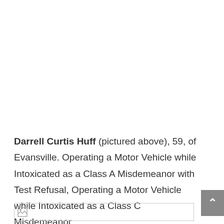Darrell Curtis Huff (pictured above), 59, of Evansville. Operating a Motor Vehicle while Intoxicated as a Class A Misdemeanor with Test Refusal, Operating a Motor Vehicle while Intoxicated as a Class C Misdemeanor
[Figure (other): Broken image placeholder at bottom of page]